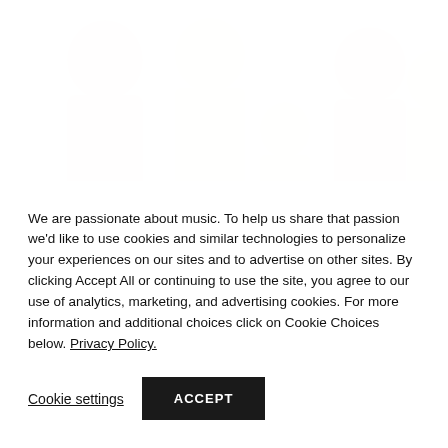[Figure (photo): Faded/washed-out photograph of people, likely musicians or a group, shown as light silhouettes on a near-white background]
We are passionate about music. To help us share that passion we'd like to use cookies and similar technologies to personalize your experiences on our sites and to advertise on other sites. By clicking Accept All or continuing to use the site, you agree to our use of analytics, marketing, and advertising cookies. For more information and additional choices click on Cookie Choices below. Privacy Policy.
Cookie settings
ACCEPT